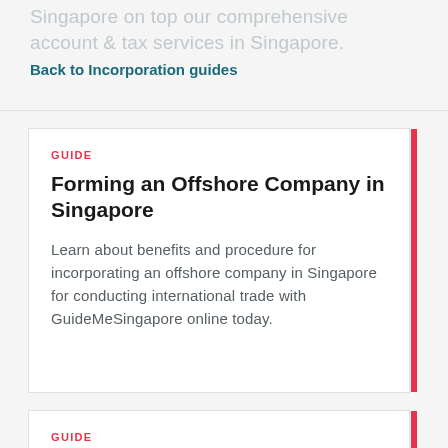Singapore on top our comprehensive account & tax services in Singapore.
Back to Incorporation guides
GUIDE
Forming an Offshore Company in Singapore
Learn about benefits and procedure for incorporating an offshore company in Singapore for conducting international trade with GuideMeSingapore online today.
GUIDE
Compliance for Singapore Companies